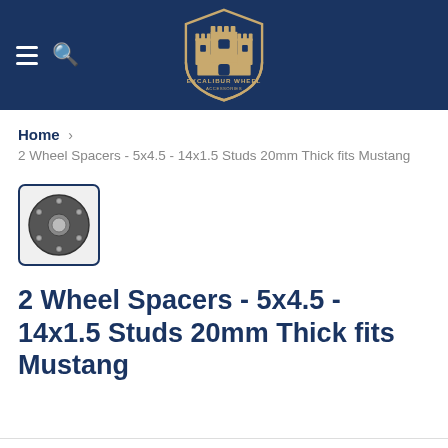Excalibur Wheel Accessories – site header with hamburger menu, search icon, and logo
Home › 2 Wheel Spacers - 5x4.5 - 14x1.5 Studs 20mm Thick fits Mustang
[Figure (photo): Thumbnail photo of a wheel spacer – a circular metal ring with bolt holes]
2 Wheel Spacers - 5x4.5 - 14x1.5 Studs 20mm Thick fits Mustang